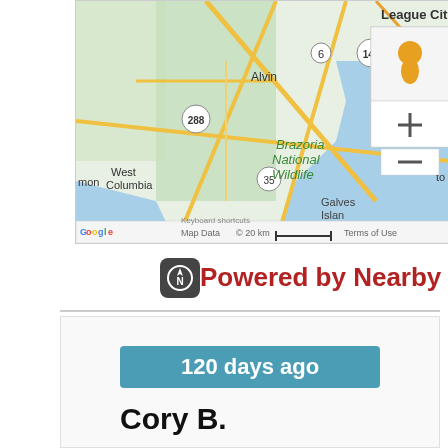[Figure (map): Google Maps screenshot showing area around Galveston, Texas including League City, Alvin, Texas City, Galveston Island, West Columbia, Brazoria National Wildlife, with highway markers 146, 6, 288, 35 visible. Includes Google Maps controls (zoom in/out, street view person icon). Bottom bar shows: Keyboard shortcuts | Map Data | 20 km scale | Terms of Use]
[Figure (logo): Nearby Now app icon - dark rounded square with white compass/N symbol]
Powered by Nearby Now
120 days ago
Cory B.